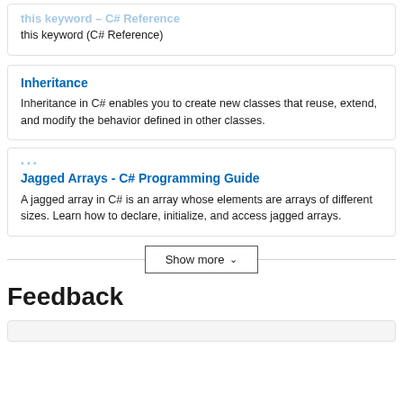this keyword (C# Reference)
Inheritance
Inheritance in C# enables you to create new classes that reuse, extend, and modify the behavior defined in other classes.
Jagged Arrays - C# Programming Guide
A jagged array in C# is an array whose elements are arrays of different sizes. Learn how to declare, initialize, and access jagged arrays.
Show more
Feedback